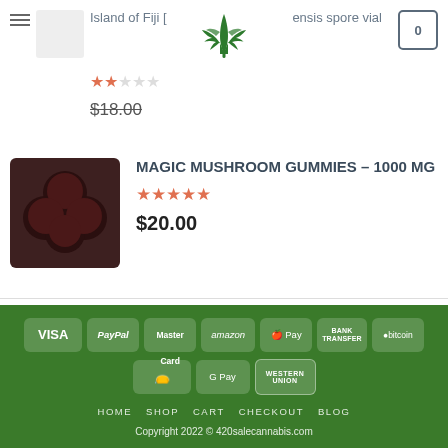Island of Fiji [partial] | ensis spore vial | cart: 0
$18.00
MAGIC MUSHROOM GUMMIES – 1000 MG
★★★★★
$20.00
Grand Daddy Purple
★★★★★
$35.00  $30.00
[Figure (screenshot): Footer with payment method badges: VISA, PayPal, MasterCard, amazon, Apple Pay, Bank Transfer, bitcoin, (hand/cash icon), G Pay, Western Union. Navigation links: HOME SHOP CART CHECKOUT BLOG. Copyright 2022 © 420salecannabis.com]